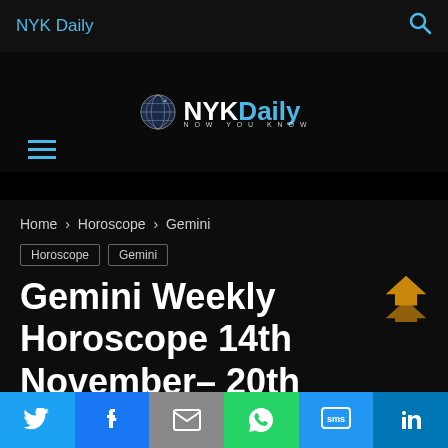NYK Daily
[Figure (logo): NYKDaily logo with globe icon and tagline 'Now You Know']
Home › Horoscope › Gemini
Horoscope
Gemini
Gemini Weekly Horoscope 14th November– 20th November 2021
By Arushi Sana - November 14, 2021